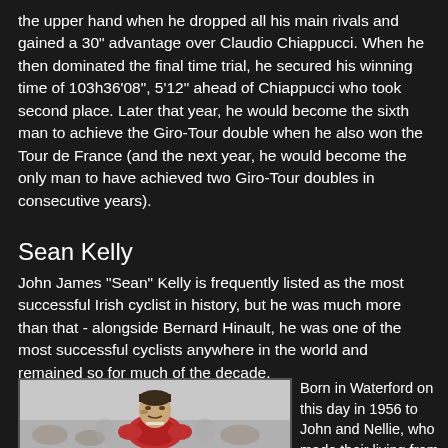the upper hand when he dropped all his main rivals and gained a 30" advantage over Claudio Chiappucci. When he then dominated the final time trial, he secured his winning time of 103h36'08", 5'12" ahead of Chiappucci who took second place. Later that year, he would become the sixth man to achieve the Giro-Tour double when he also won the Tour de France (and the next year, he would become the only man to have achieved two Giro-Tour doubles in consecutive years).
Sean Kelly
John James "Sean" Kelly is frequently listed as the most successful Irish cyclist in history, but he was much more than that - alongside Bernard Hinault, he was one of the most successful cyclists anywhere in the world and remained so for much of the decade.
[Figure (photo): Black and white or muted photo of a cyclist (Sean Kelly) racing, face visible, wearing cycling gear, crowd or background behind him.]
Born in Waterford on this day in 1956 to John and Nellie, who made their living from a